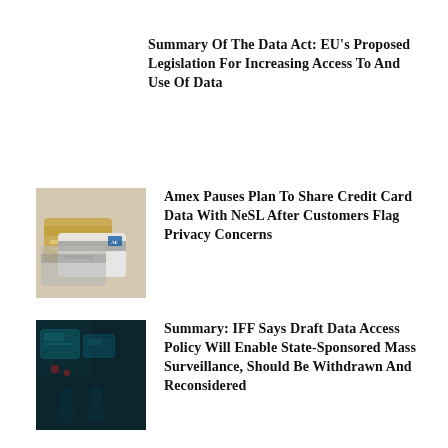Summary Of The Data Act: EU's Proposed Legislation For Increasing Access To And Use Of Data
[Figure (photo): Credit cards including American Express cards laid on a surface]
Amex Pauses Plan To Share Credit Card Data With NeSL After Customers Flag Privacy Concerns
[Figure (photo): Dark scene with people and screens, surveillance or monitoring context]
Summary: IFF Says Draft Data Access Policy Will Enable State-Sponsored Mass Surveillance, Should Be Withdrawn And Reconsidered